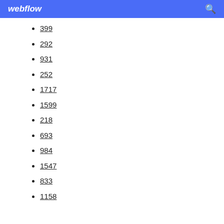webflow
399
292
931
252
1717
1599
218
693
984
1547
833
1158